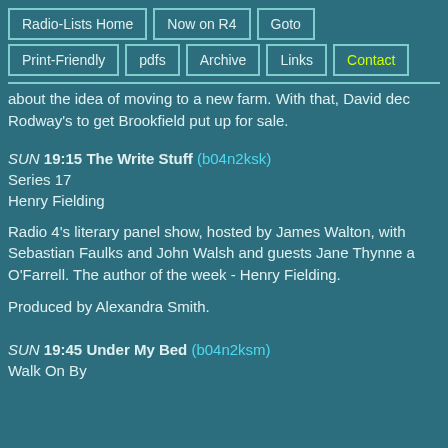Radio-Lists Home | Now on R4 | Goto | Print-Friendly | pdfs | Archive | Links | Contact
about the idea of moving to a new farm. With that, David dec... Rodway's to get Brookfield put up for sale.
SUN 19:15 The Write Stuff (b04n2ksk) Series 17
Henry Fielding
Radio 4's literary panel show, hosted by James Walton, with Sebastian Faulks and John Walsh and guests Jane Thynne a... O'Farrell. The author of the week - Henry Fielding.
Produced by Alexandra Smith.
SUN 19:45 Under My Bed (b04n2ksm) Walk On By